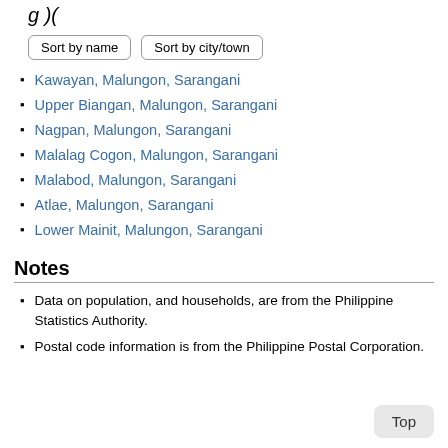g )(
Sort by name | Sort by city/town
Kawayan, Malungon, Sarangani
Upper Biangan, Malungon, Sarangani
Nagpan, Malungon, Sarangani
Malalag Cogon, Malungon, Sarangani
Malabod, Malungon, Sarangani
Atlae, Malungon, Sarangani
Lower Mainit, Malungon, Sarangani
Notes
Data on population, and households, are from the Philippine Statistics Authority.
Postal code information is from the Philippine Postal Corporation.